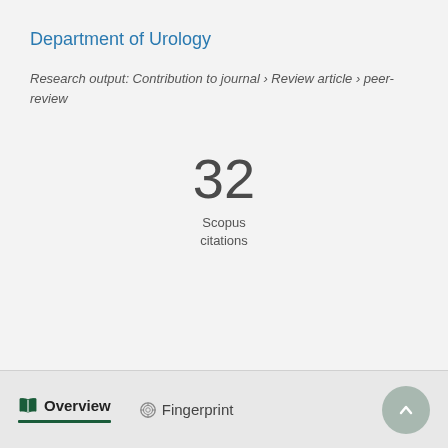Department of Urology
Research output: Contribution to journal › Review article › peer-review
32
Scopus
citations
Overview
Fingerprint